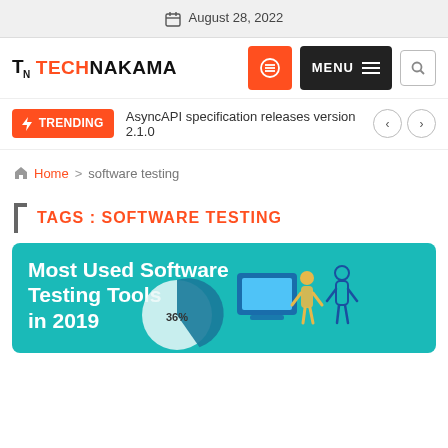August 28, 2022
[Figure (logo): TN TECHNAKAMA logo with orange and menu buttons]
⚡ TRENDING  AsyncAPI specification releases version 2.1.0
🏠 Home > software testing
TAGS : SOFTWARE TESTING
[Figure (infographic): Most Used Software Testing Tools in 2019 - teal background infographic with 36% pie chart and figures]